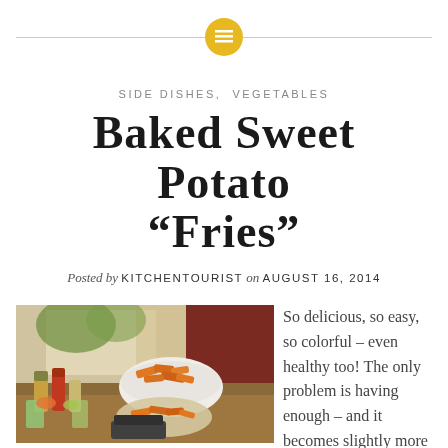SIDE DISHES, VEGETABLES
Baked Sweet Potato "Fries"
Posted by KITCHENTOURIST on AUGUST 16, 2014
[Figure (photo): A kitchen counter with a bowl of baked sweet potato fries, various spice jars and condiments, vegetables, and a kitchen scale on a wooden surface near a window.]
So delicious, so easy, so colorful – even healthy too! The only problem is having enough – and it becomes slightly more labor intensive if